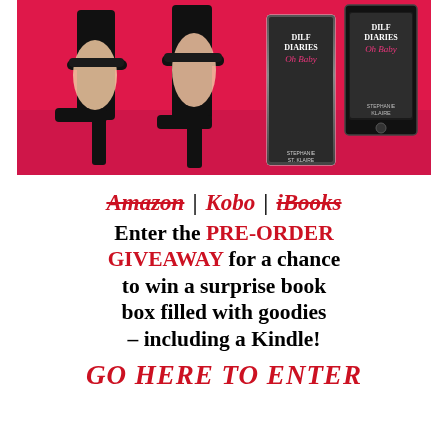[Figure (photo): Photo of black high heel shoes on a pink/red background, alongside book covers for 'DILF Diaries Oh Baby' by Stephanie St. Klaire shown in print and digital formats]
Amazon | Kobo | iBooks
Enter the PRE-ORDER GIVEAWAY for a chance to win a surprise book box filled with goodies – including a Kindle!
GO HERE TO ENTER